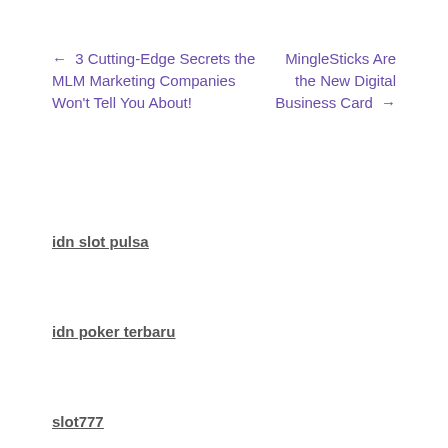← 3 Cutting-Edge Secrets the MLM Marketing Companies Won't Tell You About!
MingleSticks Are the New Digital Business Card →
idn slot pulsa
idn poker terbaru
slot777